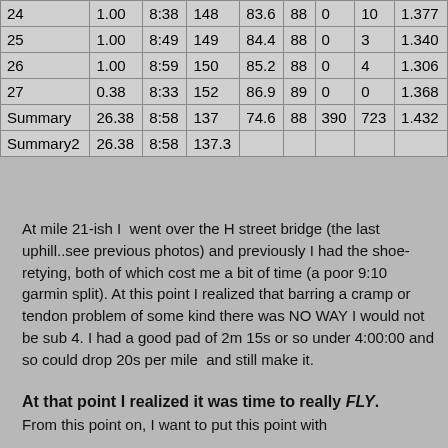|  |  |  |  |  |  |  |  |  |
| --- | --- | --- | --- | --- | --- | --- | --- | --- |
| 24 | 1.00 | 8:38 | 148 | 83.6 | 88 | 0 | 10 | 1.377 |
| 25 | 1.00 | 8:49 | 149 | 84.4 | 88 | 0 | 3 | 1.340 |
| 26 | 1.00 | 8:59 | 150 | 85.2 | 88 | 0 | 4 | 1.306 |
| 27 | 0.38 | 8:33 | 152 | 86.9 | 89 | 0 | 0 | 1.368 |
| Summary | 26.38 | 8:58 | 137 | 74.6 | 88 | 390 | 723 | 1.432 |
| Summary2 | 26.38 | 8:58 | 137.3 |  |  |  |  |  |
At mile 21-ish I  went over the H street bridge (the last uphill..see previous photos) and previously I had the shoe-retying, both of which cost me a bit of time (a poor 9:10 garmin split). At this point I realized that barring a cramp or tendon problem of some kind there was NO WAY I would not be sub 4. I had a good pad of 2m 15s or so under 4:00:00 and so could drop 20s per mile  and still make it.
At that point I realized it was time to really FLY.